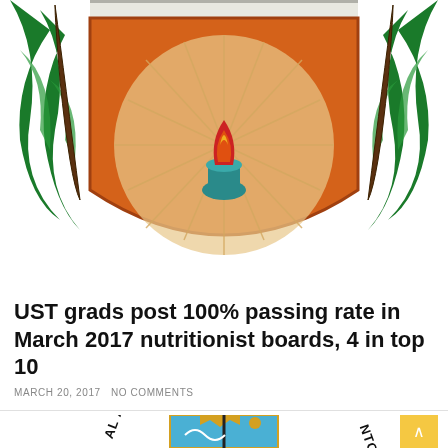[Figure (illustration): Partial view of a university coat of arms / shield — orange/shield shape with a flame torch on a teal base, radiating lines in a circular pattern, flanked by green foliage on either side. Top portion cropped.]
UST grads post 100% passing rate in March 2017 nutritionist boards, 4 in top 10
MARCH 20, 2017 NO COMMENTS
[Figure (illustration): Partial view of the University of Santo Tomas (UST) official seal/logo — blue square background with a golden sun bearing a face, a crown, a sword, a cherub/angel figure, and decorative flourishes. Text around the perimeter reads 'UNIVERSIDAD DE SANTO TOMAS' (partially visible as 'AL AND RO' on left and 'NTO TOMA' on right). Cropped at bottom.]